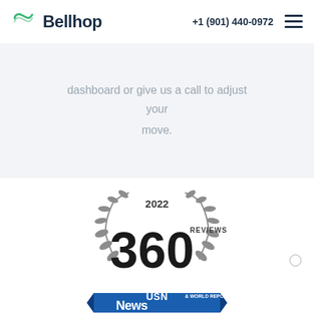Bellhop  +1 (901) 440-0972
dashboard or give us a call to adjust your move.
[Figure (logo): US News & World Report 360 Reviews 2022 badge/seal with laurel wreath design and blue ribbon banner reading US News & World Report]